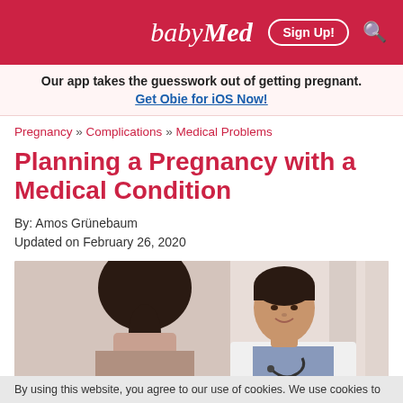babyMed | Sign Up! | Search
Our app takes the guesswork out of getting pregnant.
Get Obie for iOS Now!
Pregnancy » Complications » Medical Problems
Planning a Pregnancy with a Medical Condition
By: Amos Grünebaum
Updated on February 26, 2020
[Figure (photo): A female doctor in a white coat with stethoscope consulting with a female patient, both with dark hair, warm clinical setting]
By using this website, you agree to our use of cookies. We use cookies to